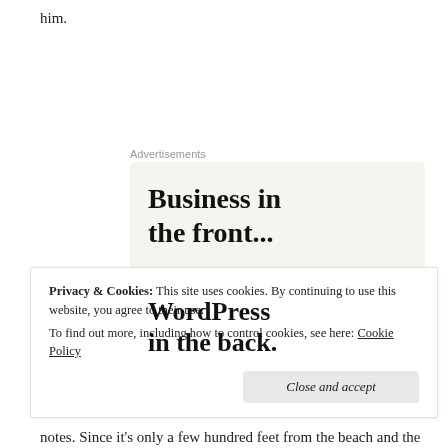him.
Advertisements
[Figure (screenshot): WordPress advertisement banner with two sections: top light beige section with bold text 'Business in the front...' and bottom colorful gradient section with text 'WordPress in the back.' on an orange/pink/purple bubble background.]
Privacy & Cookies: This site uses cookies. By continuing to use this website, you agree to their use.
To find out more, including how to control cookies, see here: Cookie Policy
Close and accept
notes. Since it's only a few hundred feet from the beach and the